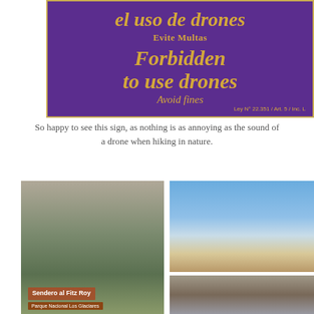[Figure (photo): Purple sign with yellow/gold text in Spanish and English: 'el uso de drones / Evite Multas / Forbidden to use drones / Avoid fines / Ley N° 22.351 / Art. 5 / Inc. L']
So happy to see this sign, as nothing is as annoying as the sound of a drone when hiking in nature.
[Figure (photo): Trail sign reading 'Sendero al Fitz Roy / Parque Nacional Los Glaciares' on a wooden post with mountain background]
[Figure (photo): Bird with red breast perched on a wooden post against a bright blue sky with clouds]
[Figure (photo): Rocky landscape with twisted branches and mountain peaks visible in background]